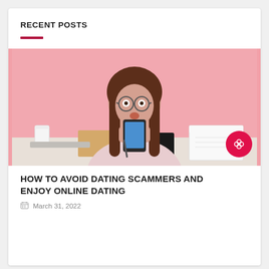RECENT POSTS
[Figure (photo): A young woman with long brown hair and glasses looking shocked at her smartphone, sitting at a desk with a coffee cup, notebook, tablet, and calendar. Pink background. A circular red badge with a white decorative icon in the bottom right corner.]
HOW TO AVOID DATING SCAMMERS AND ENJOY ONLINE DATING
March 31, 2022